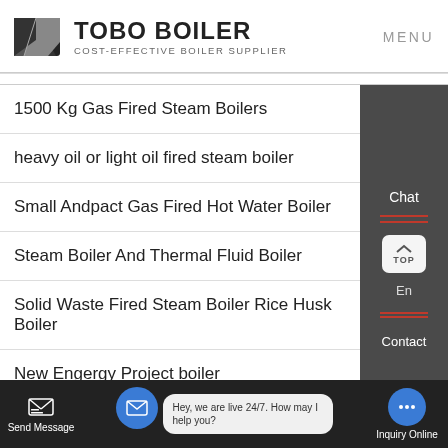TOBO BOILER — COST-EFFECTIVE BOILER SUPPLIER | MENU
1500 Kg Gas Fired Steam Boilers
heavy oil or light oil fired steam boiler
Small Andpact Gas Fired Hot Water Boiler
Steam Boiler And Thermal Fluid Boiler
Solid Waste Fired Steam Boiler Rice Husk Boiler
New Engergy Project boiler
Send Message | Hey, we are live 24/7. How may I help you? | Inquiry Online